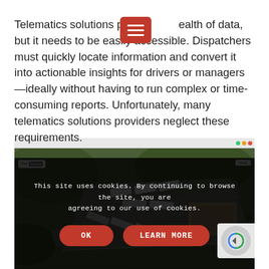Telematics solutions provide a wealth of data, but it needs to be easily accessible. Dispatchers must quickly locate information and convert it into actionable insights for drivers or managers—ideally without having to run complex or time-consuming reports. Unfortunately, many telematics solutions providers neglect these requirements.
[Figure (screenshot): Screenshot of a satellite map view showing a trucking yard with multiple trucks and trailers visible from aerial perspective, with a browser chrome bar at the top and map/satellite toggle buttons.]
This site uses cookies. By continuing to browse the site, you are agreeing to our use of cookies.